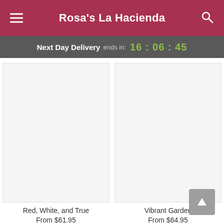Rosa's La Hacienda
Next Day Delivery ends in: 16 : 06 : 45
[Figure (photo): Product image placeholder for Red, White, and True floral arrangement]
Red, White, and True
From $61.95
[Figure (photo): Product image placeholder for Vibrant Garden floral arrangement]
Vibrant Garden
From $64.95